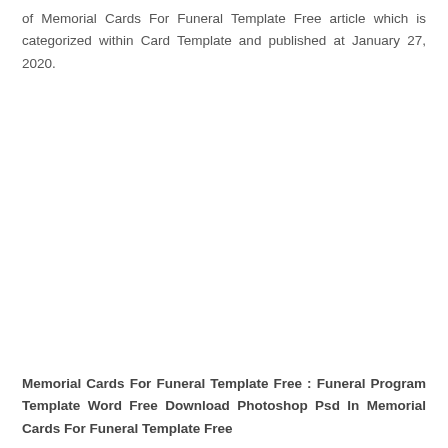of Memorial Cards For Funeral Template Free article which is categorized within Card Template and published at January 27, 2020.
Memorial Cards For Funeral Template Free : Funeral Program Template Word Free Download Photoshop Psd In Memorial Cards For Funeral Template Free